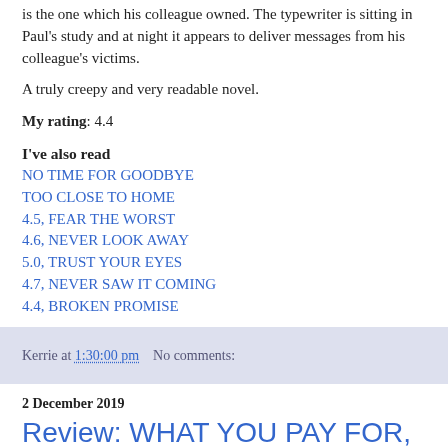is the one which his colleague owned. The typewriter is sitting in Paul's study and at night it appears to deliver messages from his colleague's victims.
A truly creepy and very readable novel.
My rating: 4.4
I've also read
NO TIME FOR GOODBYE
TOO CLOSE TO HOME
4.5, FEAR THE WORST
4.6, NEVER LOOK AWAY
5.0, TRUST YOUR EYES
4.7, NEVER SAW IT COMING
4.4, BROKEN PROMISE
Kerrie at 1:30:00 pm    No comments:
2 December 2019
Review: WHAT YOU PAY FOR, Claire